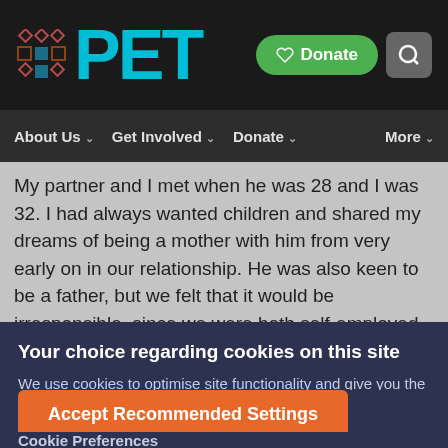[Figure (logo): PET logo with grid icon in top-left header area]
About Us   Get Involved   Donate   More
My partner and I met when he was 28 and I was 32. I had always wanted children and shared my dreams of being a mother with him from very early on in our relationship. He was also keen to be a father, but we felt that it would be irresponsible, since we were both self-employed, to
Your choice regarding cookies on this site
We use cookies to optimise site functionality and give you the best possible experience.
Accept Recommended Settings
Cookie Preferences